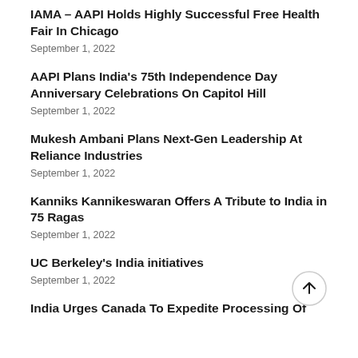IAMA – AAPI Holds Highly Successful Free Health Fair In Chicago
September 1, 2022
AAPI Plans India's 75th Independence Day Anniversary Celebrations On Capitol Hill
September 1, 2022
Mukesh Ambani Plans Next-Gen Leadership At Reliance Industries
September 1, 2022
Kanniks Kannikeswaran Offers A Tribute to India in 75 Ragas
September 1, 2022
UC Berkeley's India initiatives
September 1, 2022
India Urges Canada To Expedite Processing Of